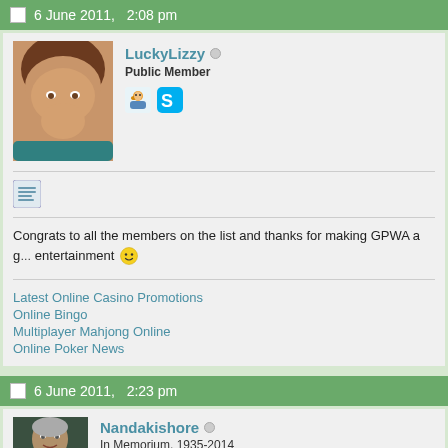6 June 2011,  2:08 pm
LuckyLizzy
Public Member
Congrats to all the members on the list and thanks for making GPWA a g... entertainment 🙂
Latest Online Casino Promotions
Online Bingo
Multiplayer Mahjong Online
Online Poker News
6 June 2011,  2:23 pm
Nandakishore
In Memorium, 1935-2014